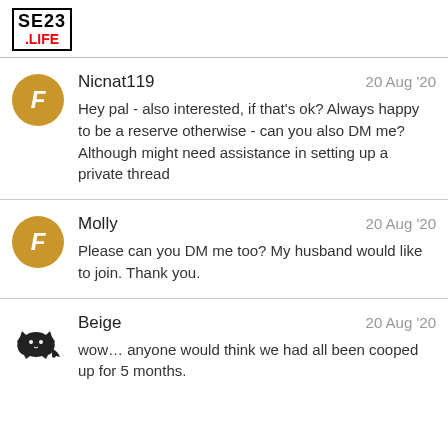[Figure (logo): SE23 .LIFE logo with black border]
Nicnat119
20 Aug '20
Hey pal - also interested, if that's ok? Always happy to be a reserve otherwise - can you also DM me? Although might need assistance in setting up a private thread
Molly
20 Aug '20
Please can you DM me too? My husband would like to join. Thank you.
Beige
20 Aug '20
wow… anyone would think we had all been cooped up for 5 months.